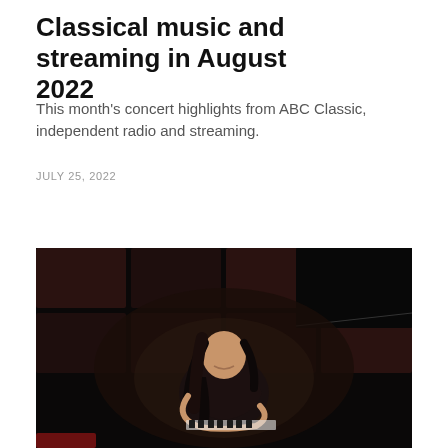Classical music and streaming in August 2022
This month's concert highlights from ABC Classic, independent radio and streaming.
JULY 25, 2022
[Figure (photo): A pianist with long dark hair wearing a black outfit, leaning over a grand piano in a dark studio setting with acoustic panels visible in the background.]